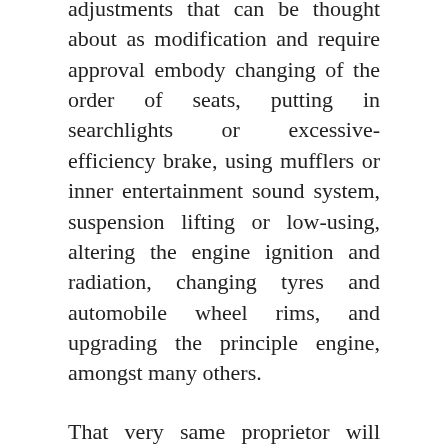adjustments that can be thought about as modification and require approval embody changing of the order of seats, putting in searchlights or excessive-efficiency brake, using mufflers or inner entertainment sound system, suspension lifting or low-using, altering the engine ignition and radiation, changing tyres and automobile wheel rims, and upgrading the principle engine, amongst many others.
That very same proprietor will almost certainly also change the tyres because 4 WHEEL DRIVE automobiles are offered with urban tyres and if these automobiles are meant to be driven in rural situations, bigger diameter tyres might be required.
Nuances of race automobile actually applied and designed very neat with no seen wires mess. Most individuals suppose going cat-again can make their